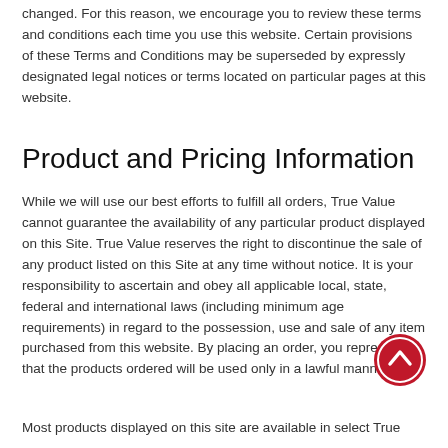changed. For this reason, we encourage you to review these terms and conditions each time you use this website. Certain provisions of these Terms and Conditions may be superseded by expressly designated legal notices or terms located on particular pages at this website.
Product and Pricing Information
While we will use our best efforts to fulfill all orders, True Value cannot guarantee the availability of any particular product displayed on this Site. True Value reserves the right to discontinue the sale of any product listed on this Site at any time without notice. It is your responsibility to ascertain and obey all applicable local, state, federal and international laws (including minimum age requirements) in regard to the possession, use and sale of any item purchased from this website. By placing an order, you represent that the products ordered will be used only in a lawful manner.
Most products displayed on this site are available in select True